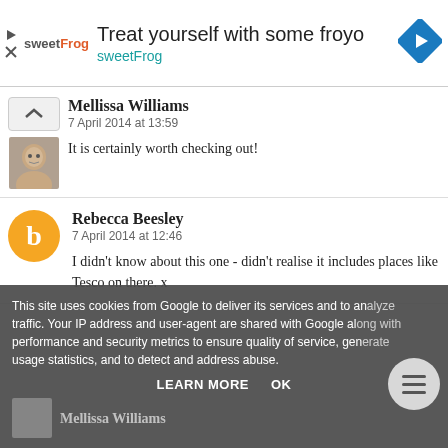[Figure (other): Advertisement banner for sweetFrog frozen yogurt. Text reads 'Treat yourself with some froyo' and 'sweetFrog'. Contains sweetFrog logo and a blue navigation arrow icon.]
Mellissa Williams
7 April 2014 at 13:59

It is certainly worth checking out!
Rebecca Beesley
7 April 2014 at 12:46

I didn't know about this one - didn't realise it includes places like Tesco on there. x
This site uses cookies from Google to deliver its services and to analyze traffic. Your IP address and user-agent are shared with Google along with performance and security metrics to ensure quality of service, generate usage statistics, and to detect and address abuse.
LEARN MORE   OK